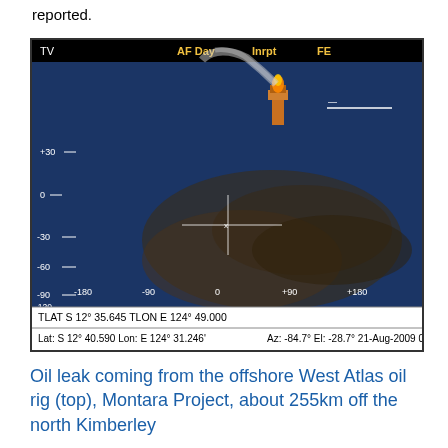reported.
[Figure (photo): Aerial surveillance camera view (HUD overlay) of oil leak from the West Atlas offshore oil rig, Montara Project, Timor Sea. Shows oil slick spreading across dark blue ocean surface with rig visible at top center emitting smoke/flame. HUD displays: TV, AF Day, Inrpt, FE, coordinates, elevation markers (+30, 0, -30, -60, -90, -120), azimuth scale (-180, -90, 0, +90, +180), crosshair, TLAT S 12 35.645, TLON E 124 49.000, Lat: S 12 40.590 Lon: E 124 31.246, Az: -84.7, El: -28.7, 21-Aug-2009 09:58:47Z]
Oil leak coming from the offshore West Atlas oil rig (top), Montara Project, about 255km off the north Kimberley